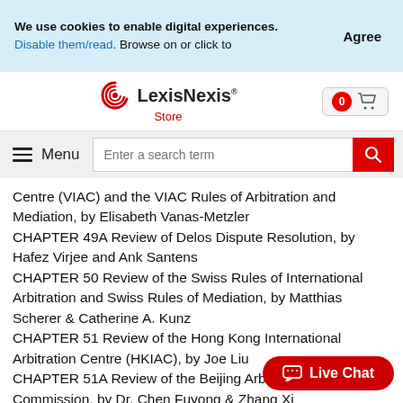We use cookies to enable digital experiences. Disable them/read. Browse on or click to
Agree
[Figure (logo): LexisNexis Store logo with red spiral icon]
[Figure (screenshot): Shopping cart icon with 0 badge]
Menu
Enter a search term
Centre (VIAC) and the VIAC Rules of Arbitration and Mediation, by Elisabeth Vanas-Metzler CHAPTER 49A Review of Delos Dispute Resolution, by Hafez Virjee and Ank Santens CHAPTER 50 Review of the Swiss Rules of International Arbitration and Swiss Rules of Mediation, by Matthias Scherer & Catherine A. Kunz CHAPTER 51 Review of the Hong Kong International Arbitration Centre (HKIAC), by Joe Liu CHAPTER 51A Review of the Beijing Arbitration Commission, by Dr. Chen Fuyong & Zhang Xi
Live Chat